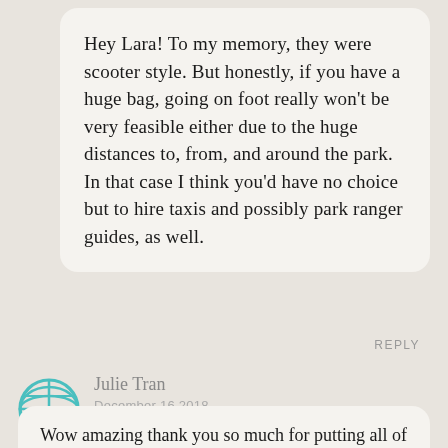Hey Lara! To my memory, they were scooter style. But honestly, if you have a huge bag, going on foot really won't be very feasible either due to the huge distances to, from, and around the park. In that case I think you'd have no choice but to hire taxis and possibly park ranger guides, as well.
REPLY
[Figure (illustration): Teal globe/world icon used as user avatar]
Julie Tran
December 16 2018
Wow amazing thank you so much for putting all of this information